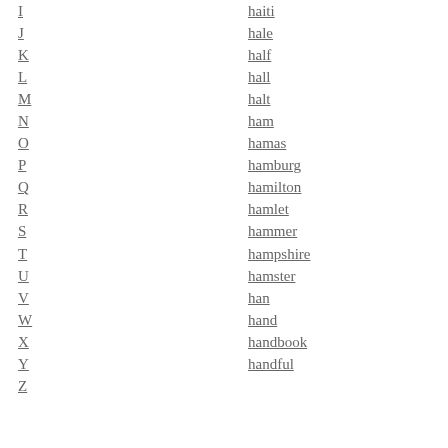I
J
K
L
M
N
O
P
Q
R
S
T
U
V
W
X
Y
Z
haiti
hale
half
hall
halt
ham
hamas
hamburg
hamilton
hamlet
hammer
hampshire
hamster
han
hand
handbook
handful
handle